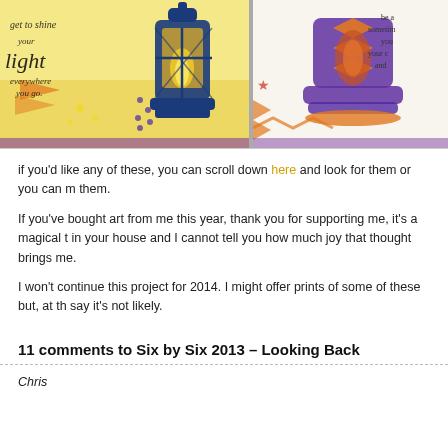[Figure (photo): Two art journal pages side by side: left shows a lantern illustration with handwritten text 'get to shine your light everywhere you go.' with yellow, orange and purple decorative elements; right shows a decorative cake/lantern illustration with text partially visible 'be a... sometimes you... your c... and...' with purple and orange tones.]
if you'd like any of these, you can scroll down here and look for them or you can m them.
If you've bought art from me this year, thank you for supporting me, it's a magical t in your house and I cannot tell you how much joy that thought brings me.
I won't continue this project for 2014. I might offer prints of some of these but, at th say it's not likely.
11 comments to Six by Six 2013 – Looking Back
Chris